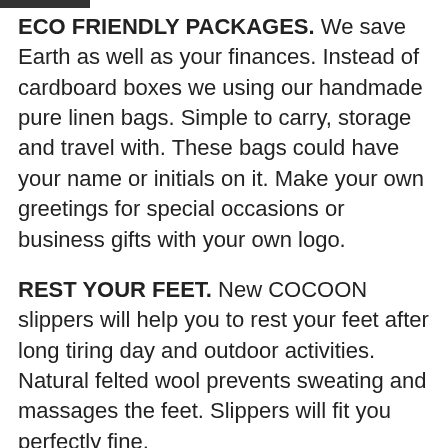ECO FRIENDLY PACKAGES. We save Earth as well as your finances. Instead of cardboard boxes we using our handmade pure linen bags. Simple to carry, storage and travel with. These bags could have your name or initials on it. Make your own greetings for special occasions or business gifts with your own logo.
REST YOUR FEET. New COCOON slippers will help you to rest your feet after long tiring day and outdoor activities. Natural felted wool prevents sweating and massages the feet. Slippers will fit you perfectly fine.
HEALTHY AND NATURAL. Felt making is one of the purest processes in textile industry. Using just hot water and soap, wool is turned